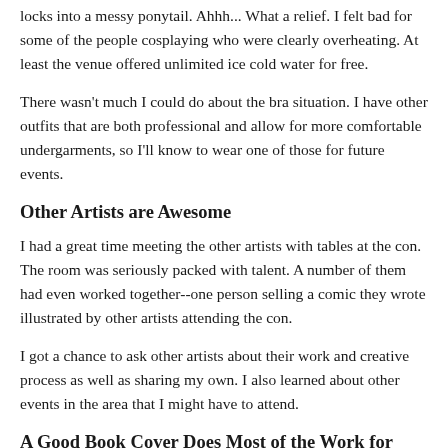locks into a messy ponytail. Ahhh... What a relief. I felt bad for some of the people cosplaying who were clearly overheating. At least the venue offered unlimited ice cold water for free.
There wasn't much I could do about the bra situation. I have other outfits that are both professional and allow for more comfortable undergarments, so I'll know to wear one of those for future events.
Other Artists are Awesome
I had a great time meeting the other artists with tables at the con. The room was seriously packed with talent. A number of them had even worked together--one person selling a comic they wrote illustrated by other artists attending the con.
I got a chance to ask other artists about their work and creative process as well as sharing my own. I also learned about other events in the area that I might have to attend.
A Good Book Cover Does Most of the Work for